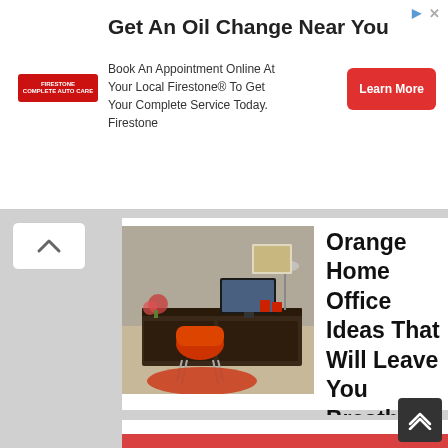[Figure (screenshot): Firestone advertisement banner: Get An Oil Change Near You. Book An Appointment Online At Your Local Firestone® To Get Your Complete Service Today. Firestone. Learn More button.]
[Figure (photo): Photo of a modern home office with orange/red chair, dark wood desk, computer monitor, and orange accents.]
Orange Home Office Ideas That Will Leave You Breathless
TREND NOW
[Figure (photo): Photo of a large black decorative spider on white webbing, Halloween decoration.]